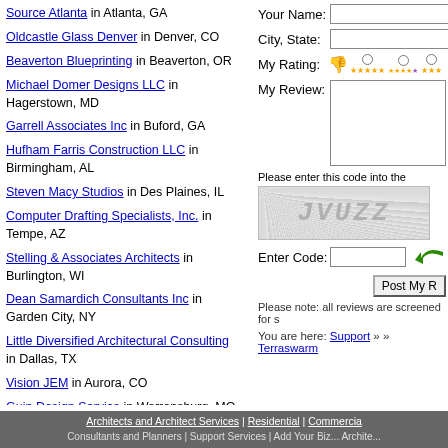Source Atlanta in Atlanta, GA
Oldcastle Glass Denver in Denver, CO
Beaverton Blueprinting in Beaverton, OR
Michael Domer Designs LLC in Hagerstown, MD
Garrell Associates Inc in Buford, GA
Hufham Farris Construction LLC in Birmingham, AL
Steven Macy Studios in Des Plaines, IL
Computer Drafting Specialists, Inc. in Tempe, AZ
Stelling & Associates Architects in Burlington, WI
Dean Samardich Consultants Inc in Garden City, NY
Little Diversified Architectural Consulting in Dallas, TX
Vision JEM in Aurora, CO
Guin Design Service in Warrensburg, MO
Your Name: [input field]
City, State: [input field]
My Rating: [rating options]
My Review: [textarea]
[Figure (screenshot): CAPTCHA image showing text JVUZZ on dotted background]
Please enter this code into the [field]
Enter Code: [input] [arrow icon]
Post My [button]
Please note: all reviews are screened for s...
You are here: Support » » Terraswarm
Architects and Architect Services | Residential | Commercial... | Consultants and Planners | Support Services | Add Your Biz... Archite...